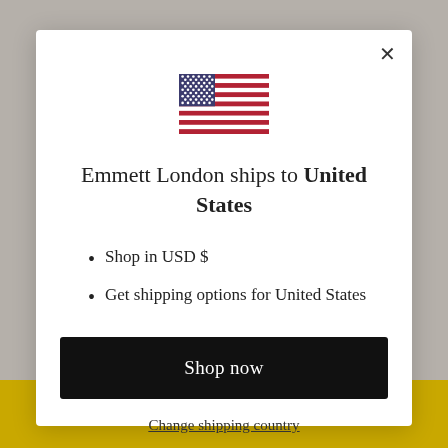[Figure (illustration): US flag emoji/icon centered at top of modal dialog]
Emmett London ships to United States
Shop in USD $
Get shipping options for United States
Shop now
Change shipping country